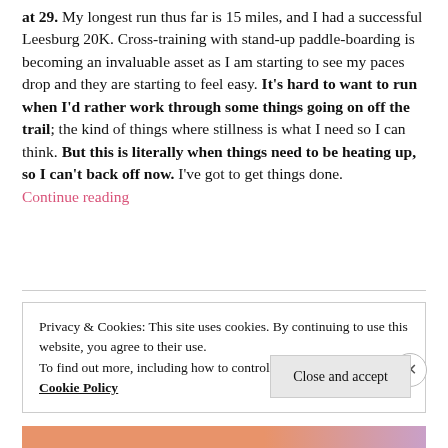at 29. My longest run thus far is 15 miles, and I had a successful Leesburg 20K. Cross-training with stand-up paddle-boarding is becoming an invaluable asset as I am starting to see my paces drop and they are starting to feel easy. It's hard to want to run when I'd rather work through some things going on off the trail; the kind of things where stillness is what I need so I can think. But this is literally when things need to be heating up, so I can't back off now. I've got to get things done. Continue reading
Privacy & Cookies: This site uses cookies. By continuing to use this website, you agree to their use.
To find out more, including how to control cookies, see here:
Cookie Policy
Close and accept